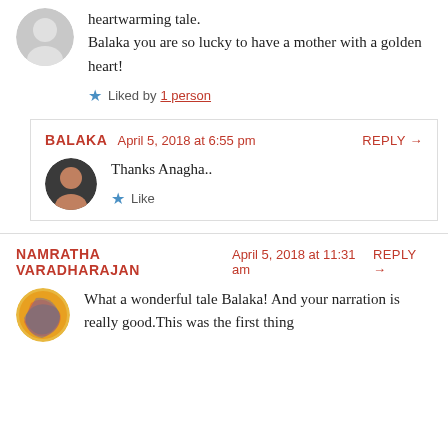heartwarming tale.
Balaka you are so lucky to have a mother with a golden heart!
Liked by 1 person
BALAKA   April 5, 2018 at 6:55 pm   REPLY →
Thanks Anagha..
Like
NAMRATHA VARADHARAJAN   April 5, 2018 at 11:31 am   REPLY →
What a wonderful tale Balaka! And your narration is really good.This was the first thing